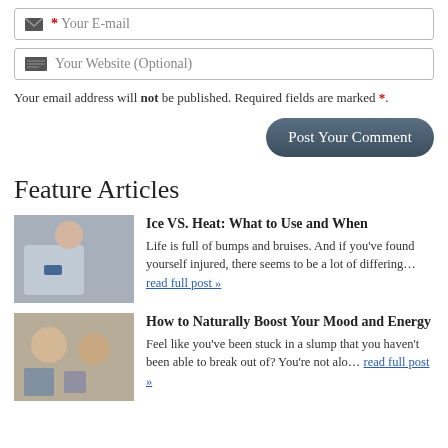* Your E-mail
Your Website (Optional)
Your email address will not be published. Required fields are marked *.
Post Your Comment
Feature Articles
Ice VS. Heat: What to Use and When — Life is full of bumps and bruises. And if you've found yourself injured, there seems to be a lot of differing... read full post »
How to Naturally Boost Your Mood and Energy — Feel like you've been stuck in a slump that you haven't been able to break out of? You're not alo... read full post »